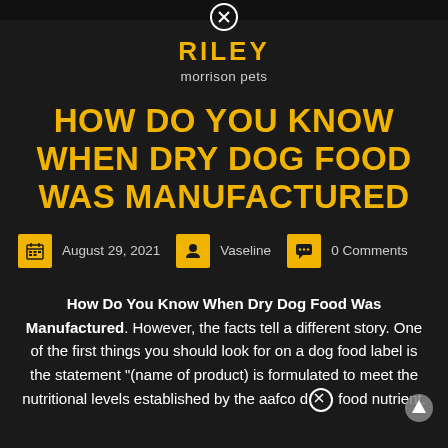RILEY morrison pets
HOW DO YOU KNOW WHEN DRY DOG FOOD WAS MANUFACTURED
August 29, 2021   Vaseline   0 Comments
How Do You Know When Dry Dog Food Was Manufactured. However, the facts tell a different story. One of the first things you should look for on a dog food label is the statement "(name of product) is formulated to meet the nutritional levels established by the aafco dog food nutrient.